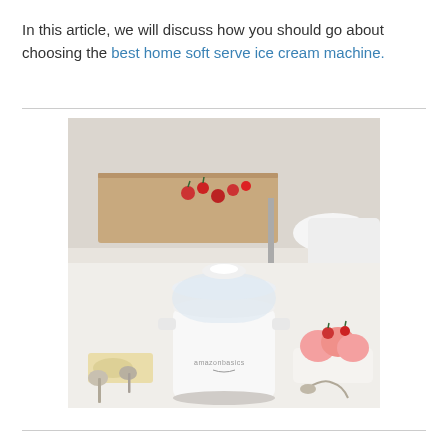In this article, we will discuss how you should go about choosing the best home soft serve ice cream machine.
[Figure (photo): A white AmazonBasics ice cream maker machine on a white kitchen counter, with a bowl of pink ice cream scoops and strawberries to the right, and ice cream scoops/spoons to the left. Kitchen background with cutting board and strawberries.]